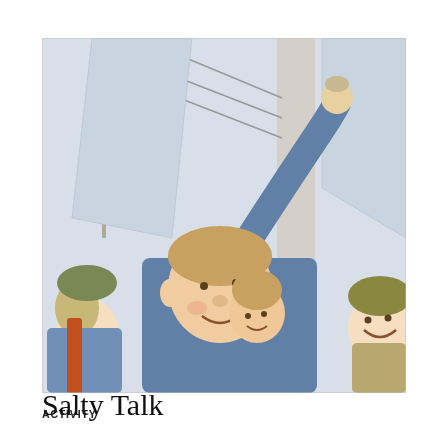[Figure (illustration): A colorful historical illustration showing sailors or naval figures in blue clothing, with ship masts and rigging visible in the background. Multiple figures with expressive faces are depicted, one raising an arm holding something aloft. A white column is visible in the background.]
ACTIVITY
Salty Talk